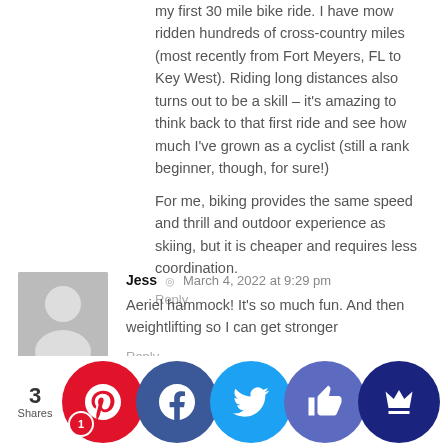my first 30 mile bike ride. I have mow ridden hundreds of cross-country miles (most recently from Fort Meyers, FL to Key West). Riding long distances also turns out to be a skill – it's amazing to think back to that first ride and see how much I've grown as a cyclist (still a rank beginner, though, for sure!)
For me, biking provides the same speed and thrill and outdoor experience as skiing, but it is cheaper and requires less coordination.
Reply
Jess  ◎  March 4, 2022 at 9:29 pm
Aeriel hammock! It's so much fun. And then weightlifting so I can get stronger
Reply
Krysten  ◎  March 5, 2022 at 9:23 am
Yes, to being a beginner and all the feelings that come with it. Congratulations on pushing through! This last year I started karate with my six year old. (My husband and older son already g... not at... coord... have ...rcepti... is... am the ... karate ...nt ever... ember
[Figure (infographic): Social sharing bar with share count '3 Shares' and circular social media buttons: Pinterest (red, with badge '1'), Facebook (dark blue), Twitter (light blue), thumbs-up (purple/indigo), crown (dark navy blue)]